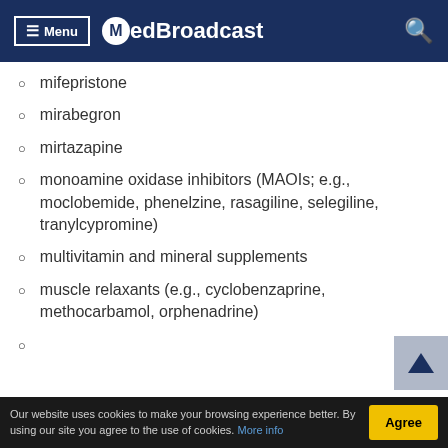Menu | MedBroadcast
mifepristone
mirabegron
mirtazapine
monoamine oxidase inhibitors (MAOIs; e.g., moclobemide, phenelzine, rasagiline, selegiline, tranylcypromine)
multivitamin and mineral supplements
muscle relaxants (e.g., cyclobenzaprine, methocarbamol, orphenadrine)
Our website uses cookies to make your browsing experience better. By using our site you agree to the use of cookies. More info